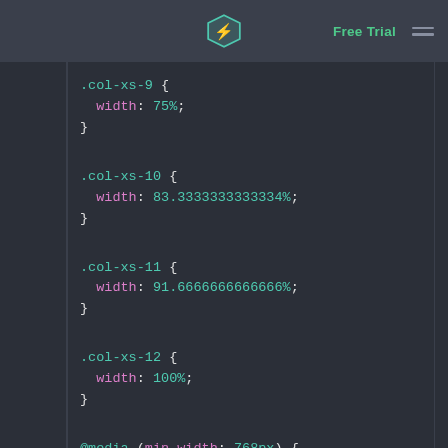Free Trial
.col-xs-9 {
  width: 75%;
}

.col-xs-10 {
  width: 83.3333333333334%;
}

.col-xs-11 {
  width: 91.6666666666666%;
}

.col-xs-12 {
  width: 100%;
}

@media (min-width: 768px) {
  .container {
    max-width: 750px;